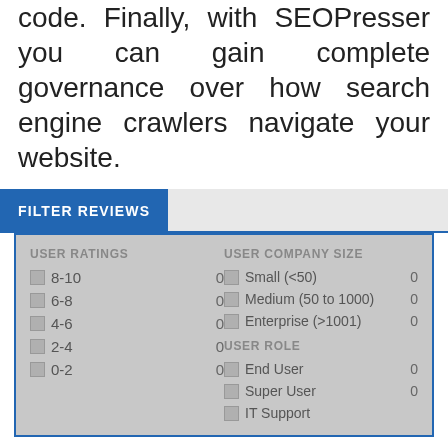code. Finally, with SEOPresser you can gain complete governance over how search engine crawlers navigate your website.
FILTER REVIEWS
| USER RATINGS |  | USER COMPANY SIZE |  |
| --- | --- | --- | --- |
| 8-10 | 0 | Small (<50) | 0 |
| 6-8 | 0 | Medium (50 to 1000) | 0 |
| 4-6 | 0 | Enterprise (>1001) | 0 |
| 2-4 | 0 |  |  |
| 0-2 | 0 |  |  |
|  |  | USER ROLE |  |
|  |  | End User | 0 |
|  |  | Super User | 0 |
|  |  | IT Support |  |